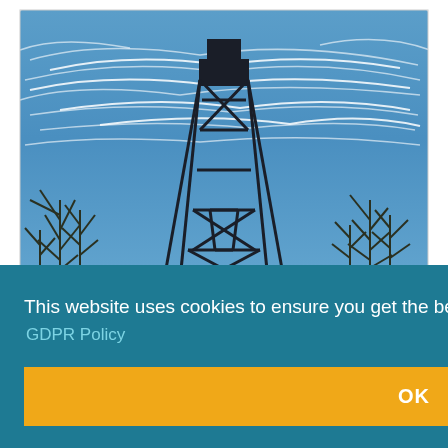[Figure (photo): Photograph of a large metal lattice tower structure (resembling an oil derrick or fire lookout tower) against a dramatic blue sky with wispy cirrus clouds. Bare winter trees are visible on either side. Below the main photo is a partial view of additional photos.]
This website uses cookies to ensure you get the best experience on our website.
GDPR Policy
OK